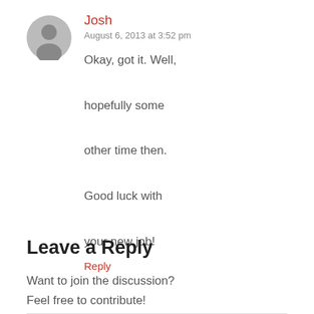[Figure (illustration): Gray circular avatar/profile picture placeholder icon]
Josh
August 6, 2013 at 3:52 pm
Okay, got it. Well, hopefully some other time then. Good luck with your new job!
Reply
Leave a Reply
Want to join the discussion?
Feel free to contribute!